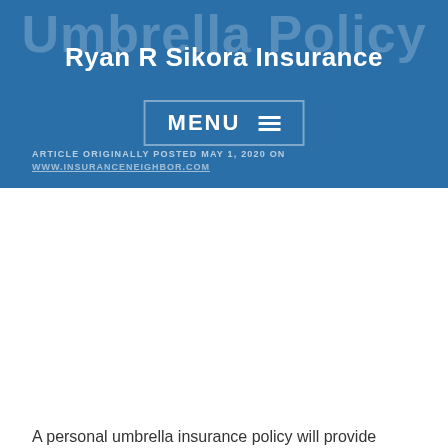Umbrella Policy
Ryan R Sikora Insurance
MENU
ARTICLE ORIGINALLY POSTED MAY 1, 2020 ON WWW.INSURANCENEIGHBOR.COM
A personal umbrella insurance policy will provide